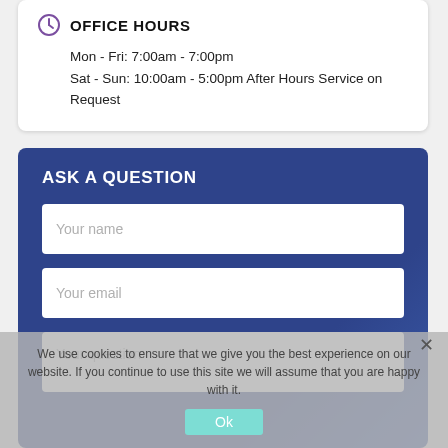OFFICE HOURS
Mon - Fri: 7:00am - 7:00pm
Sat - Sun: 10:00am - 5:00pm After Hours Service on Request
ASK A QUESTION
Your name
Your email
Your question
We use cookies to ensure that we give you the best experience on our website. If you continue to use this site we will assume that you are happy with it.
Ok